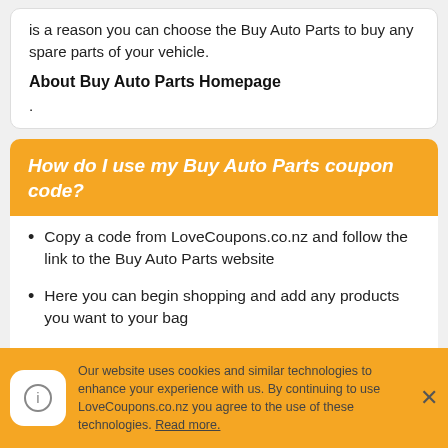is a reason you can choose the Buy Auto Parts to buy any spare parts of your vehicle.
About Buy Auto Parts Homepage
.
How do I use my Buy Auto Parts coupon code?
Copy a code from LoveCoupons.co.nz and follow the link to the Buy Auto Parts website
Here you can begin shopping and add any products you want to your bag
Once you're finished you can checkout
Our website uses cookies and similar technologies to enhance your experience with us. By continuing to use LoveCoupons.co.nz you agree to the use of these technologies. Read more.